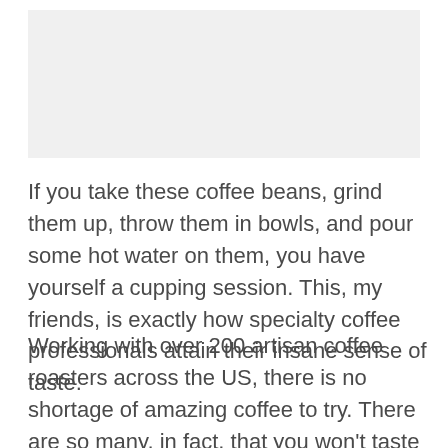[Figure (photo): Placeholder image area at the top of the page]
If you take these coffee beans, grind them up, throw them in bowls, and pour some hot water on them, you have yourself a cupping session. This, my friends, is exactly how specialty coffee professionals attain their insane sense of taste.
Working with over 200 artisan coffee roasters across the US, there is no shortage of amazing coffee to try. There are so many, in fact, that you won't taste the same coffee in any one calendar year. Aww yeah! Something for every